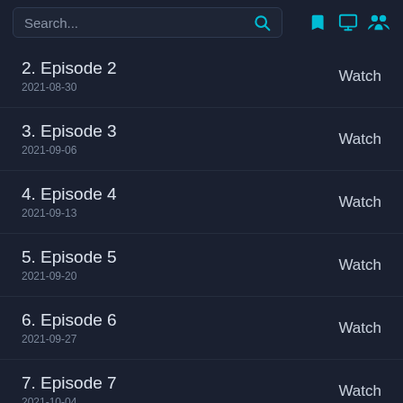Search...
2. Episode 2
2021-08-30
Watch
3. Episode 3
2021-09-06
Watch
4. Episode 4
2021-09-13
Watch
5. Episode 5
2021-09-20
Watch
6. Episode 6
2021-09-27
Watch
7. Episode 7
2021-10-04
Watch